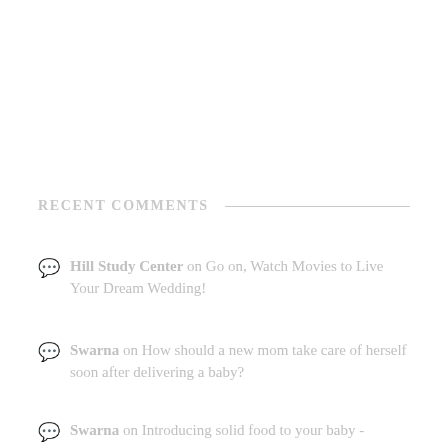RECENT COMMENTS
Hill Study Center on Go on, Watch Movies to Live Your Dream Wedding!
Swarna on How should a new mom take care of herself soon after delivering a baby?
Swarna on Introducing solid food to your baby -